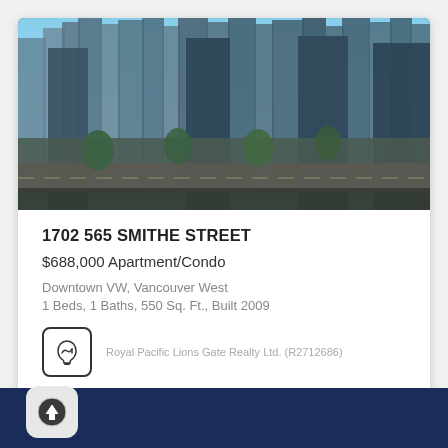[Figure (photo): Aerial/elevated view of Downtown Vancouver West skyline with tall glass condo towers and street scene]
1702 565 SMITHE STREET
$688,000 Apartment/Condo
Downtown VW, Vancouver West
1 Beds, 1 Baths, 550 Sq. Ft., Built 2009
Royal Pacific Lions Gate Realty Ltd. (R2712686)